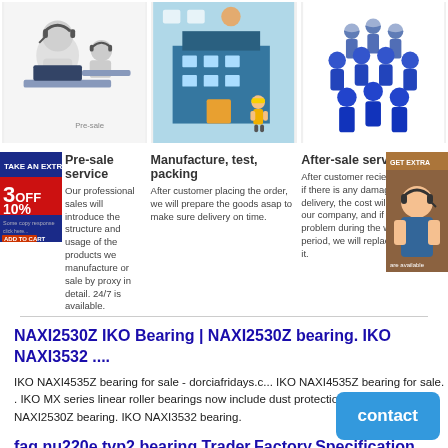[Figure (illustration): Three cartoon robot/person figures at computers with headsets - pre-sale service illustration]
[Figure (illustration): Factory/warehouse building illustration with worker - Manufacture, test, packing]
[Figure (illustration): Group of blue-uniformed workers - After-sale service illustration]
[Figure (infographic): Red promo badge: TAKE AN EXTRA 3OFF 10%]
Pre-sale service
Our professional sales will introduce the structure and usage of the products we manufacture or sale by proxy in detail. 24/7 is available.
Manufacture, test, packing
After customer placing the order, we will prepare the goods asap to make sure delivery on time.
After-sale service
After customer recieve the goods, if there is any damage during delivery, the cost will be taken by our company, and if there is problem during the warranty period, we will replace or refund it.
[Figure (photo): Customer service representative photo on right sidebar]
NAXI2530Z IKO Bearing | NAXI2530Z bearing. IKO NAXI3532 ....
IKO NAXI4535Z bearing for sale - dorciafridays.c... IKO NAXI4535Z bearing for sale. . IKO MX series linear roller bearings now include dust protection July 21, ... IKO NAXI2530Z bearing. IKO NAXI3532 bearing.
fag nu220e.tvp2 bearing Trader,Factory,Specification ....
NU220E NTNNU220E. NU2238-E-M1 is a typical type of single row cylindrical roller bearing, NU design. S NU220-E-TVP2 NU... E-TVP2 NTN NU220E,NTN,NTN NU220E FAG NN3012K-KOYO NAXI3532-IKO